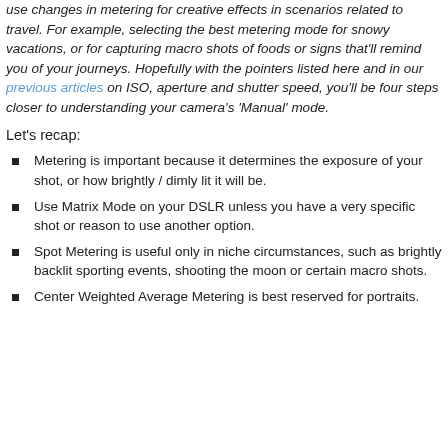use changes in metering for creative effects in scenarios related to travel. For example, selecting the best metering mode for snowy vacations, or for capturing macro shots of foods or signs that'll remind you of your journeys. Hopefully with the pointers listed here and in our previous articles on ISO, aperture and shutter speed, you'll be four steps closer to understanding your camera's 'Manual' mode.
Let's recap:
Metering is important because it determines the exposure of your shot, or how brightly / dimly lit it will be.
Use Matrix Mode on your DSLR unless you have a very specific shot or reason to use another option.
Spot Metering is useful only in niche circumstances, such as brightly backlit sporting events, shooting the moon or certain macro shots.
Center Weighted Average Metering is best reserved for portraits.